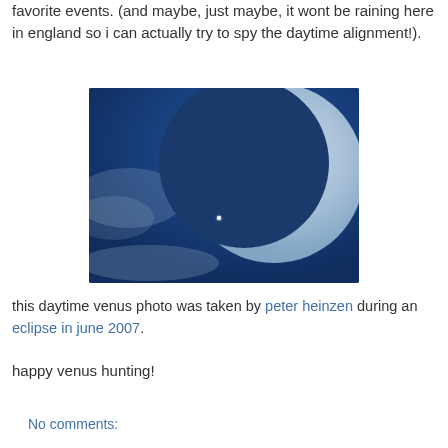favorite events. (and maybe, just maybe, it wont be raining here in england so i can actually try to spy the daytime alignment!).
[Figure (photo): Daytime photo of a crescent moon against a blue sky with faint clouds, and a tiny bright dot (Venus) visible in the lower-left portion of the image.]
this daytime venus photo was taken by peter heinzen during an eclipse in june 2007.
happy venus hunting!
No comments: